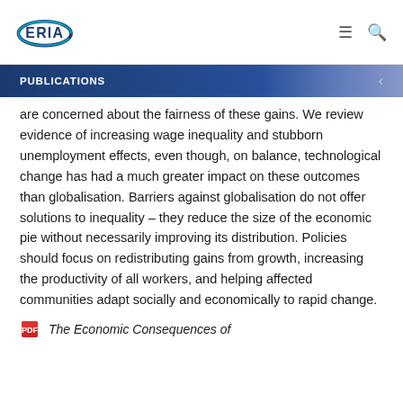ERIA (logo) — navigation icons
PUBLICATIONS
are concerned about the fairness of these gains. We review evidence of increasing wage inequality and stubborn unemployment effects, even though, on balance, technological change has had a much greater impact on these outcomes than globalisation. Barriers against globalisation do not offer solutions to inequality – they reduce the size of the economic pie without necessarily improving its distribution. Policies should focus on redistributing gains from growth, increasing the productivity of all workers, and helping affected communities adapt socially and economically to rapid change.
The Economic Consequences of